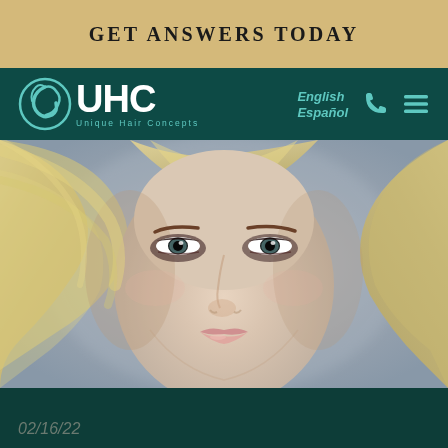GET ANSWERS TODAY
[Figure (logo): UHC Unique Hair Concepts logo with teal circular hair icon and white UHC lettering]
English
Español
[Figure (photo): Close-up portrait of a blonde woman with long straight hair, smoky eye makeup, and natural lips against a grey background]
02/16/22